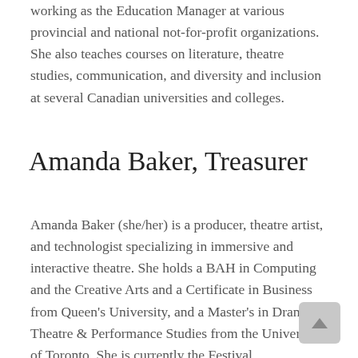working as the Education Manager at various provincial and national not-for-profit organizations. She also teaches courses on literature, theatre studies, communication, and diversity and inclusion at several Canadian universities and colleges.
Amanda Baker, Treasurer
Amanda Baker (she/her) is a producer, theatre artist, and technologist specializing in immersive and interactive theatre. She holds a BAH in Computing and the Creative Arts and a Certificate in Business from Queen's University, and a Master's in Drama, Theatre & Performance Studies from the University of Toronto. She is currently the Festival